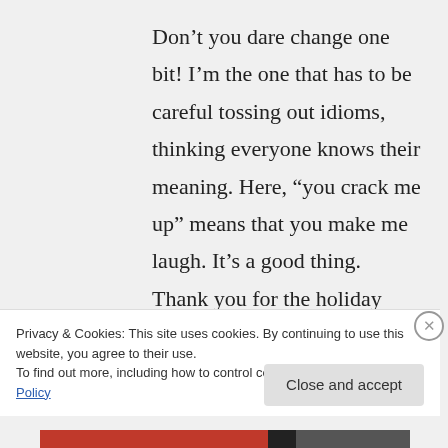Don’t you dare change one bit! I’m the one that has to be careful tossing out idioms, thinking everyone knows their meaning. Here, “you crack me up” means that you make me laugh. It’s a good thing. Thank you for the holiday wishes. May you and all
Privacy & Cookies: This site uses cookies. By continuing to use this website, you agree to their use.
To find out more, including how to control cookies, see here: Cookie Policy